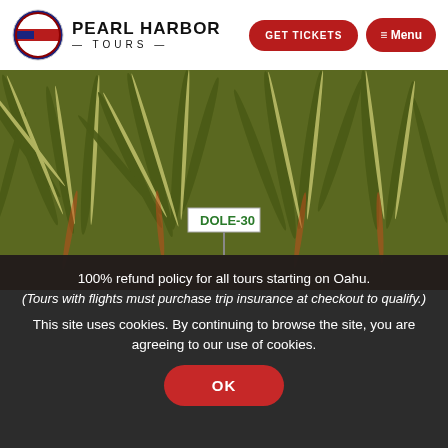[Figure (logo): Pearl Harbor Tours circular logo with American flag and eagle]
PEARL HARBOR TOURS
GET TICKETS
≡ Menu
[Figure (photo): Photograph of pineapple plants with a sign reading DOLE-30 and red-brown soil]
100% refund policy for all tours starting on Oahu. (Tours with flights must purchase trip insurance at checkout to qualify.) This site uses cookies. By continuing to browse the site, you are agreeing to our use of cookies.
OK